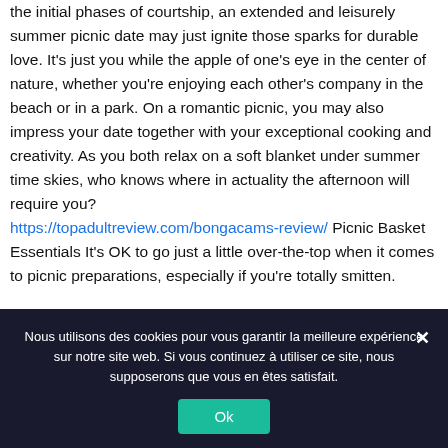the initial phases of courtship, an extended and leisurely summer picnic date may just ignite those sparks for durable love. It's just you while the apple of one's eye in the center of nature, whether you're enjoying each other's company in the beach or in a park. On a romantic picnic, you may also impress your date together with your exceptional cooking and creativity. As you both relax on a soft blanket under summer time skies, who knows where in actuality the afternoon will require you? https://topadultreview.com/bongacams-review/ Picnic Basket Essentials It's OK to go just a little over-the-top when it comes to picnic preparations, especially if you're totally smitten.
Nous utilisons des cookies pour vous garantir la meilleure expérience sur notre site web. Si vous continuez à utiliser ce site, nous supposerons que vous en êtes satisfait.